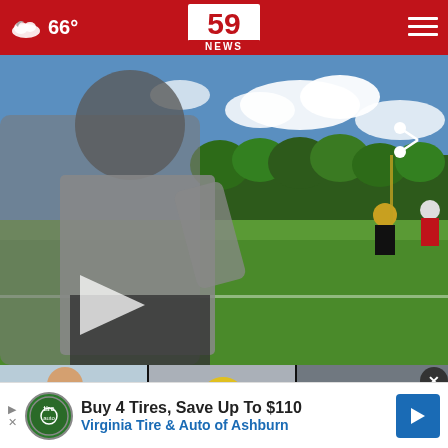66° | 59 NEWS
[Figure (screenshot): Video player showing football players practicing on a green field under blue sky with clouds. A person in a gray t-shirt is in foreground. A play button triangle is visible on the left side. A share icon is in the top right.]
[Figure (screenshot): Three thumbnail images at the bottom showing related news stories. First thumbnail shows a child. Second thumbnail shows a person with yellow hard hat. Third thumbnail is partially visible. Labels read: 'Pocahontas County', 'Greenbrier West High', 'The in'.]
[Figure (infographic): Advertisement banner: Buy 4 Tires, Save Up To $110 - Virginia Tire & Auto of Ashburn. Shows Tire Auto logo circle on left and blue arrow button on right.]